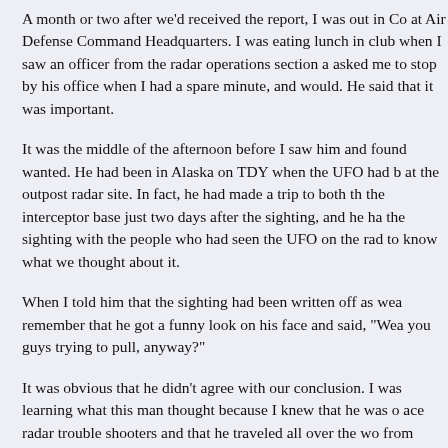A month or two after we'd received the report, I was out in Co at Air Defense Command Headquarters. I was eating lunch in club when I saw an officer from the radar operations section a asked me to stop by his office when I had a spare minute, and would. He said that it was important.
It was the middle of the afternoon before I saw him and found wanted. He had been in Alaska on TDY when the UFO had b at the outpost radar site. In fact, he had made a trip to both th the interceptor base just two days after the sighting, and he ha the sighting with the people who had seen the UFO on the rad to know what we thought about it.
When I told him that the sighting had been written off as wea remember that he got a funny look on his face and said, "Wea you guys trying to pull, anyway?"
It was obvious that he didn't agree with our conclusion. I was learning what this man thought because I knew that he was o ace radar trouble shooters and that he traveled all over the wo from ADC, to work out problems with radars.